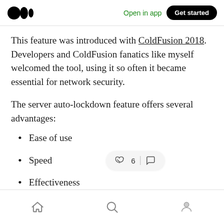Medium logo | Open in app | Get started
This feature was introduced with ColdFusion 2018. Developers and ColdFusion fanatics like myself welcomed the tool, using it so often it became essential for network security.
The server auto-lockdown feature offers several advantages:
Ease of use
Speed
Effectiveness
Home | Search | Profile